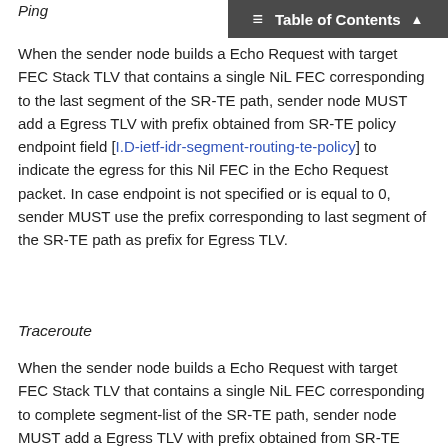Ping
Table of Contents
When the sender node builds a Echo Request with target FEC Stack TLV that contains a single NiL FEC corresponding to the last segment of the SR-TE path, sender node MUST add a Egress TLV with prefix obtained from SR-TE policy endpoint field [I.D-ietf-idr-segment-routing-te-policy] to indicate the egress for this Nil FEC in the Echo Request packet. In case endpoint is not specified or is equal to 0, sender MUST use the prefix corresponding to last segment of the SR-TE path as prefix for Egress TLV.
Traceroute
When the sender node builds a Echo Request with target FEC Stack TLV that contains a single NiL FEC corresponding to complete segment-list of the SR-TE path, sender node MUST add a Egress TLV with prefix obtained from SR-TE policy endpoint field [I.D-ietf-idr-segment-routing-te-policy] to indicate the egress for this Nil FEC in the Echo Request packet. Some implementations may send multiple NilFEC but it is not really required. In case headend sends multiple Nil